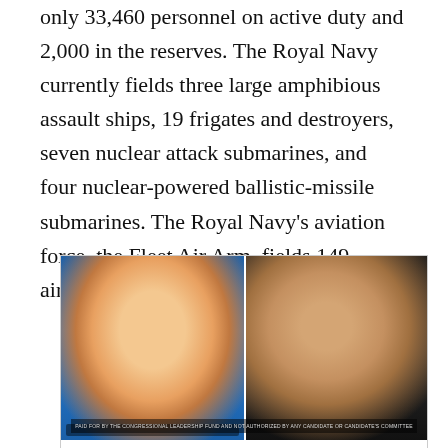only 33,460 personnel on active duty and 2,000 in the reserves. The Royal Navy currently fields three large amphibious assault ships, 19 frigates and destroyers, seven nuclear attack submarines, and four nuclear-powered ballistic-missile submarines. The Royal Navy's aviation force, the Fleet Air Arm, fields 149 aircraft, primarily helicopters.
[Figure (photo): Side-by-side photo of two political figures. Left half shows a man in a dark suit with a red tie speaking with mouth open, blue background. Right half shows a woman with brown hair smiling against a dark background. A small disclaimer caption bar appears at the bottom reading 'PAID FOR BY THE CONGRESSIONAL LEADERSHIP FUND AND NOT AUTHORIZED BY ANY CANDIDATE OR CANDIDATE'S COMMITTEE'.]